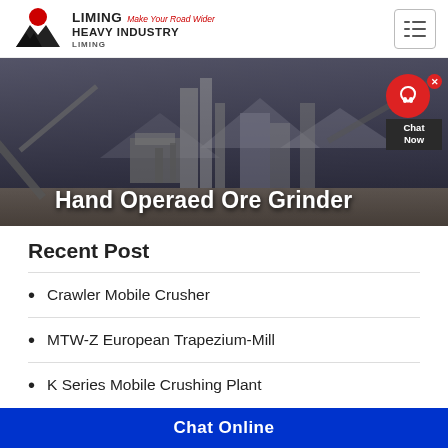LIMING HEAVY INDUSTRY Make Your Road Wider
[Figure (photo): Industrial mining/crushing plant scene with conveyors and machinery, dark sky background. Hero banner image for Liming Heavy Industry website.]
Hand Operaed Ore Grinder
Recent Post
Crawler Mobile Crusher
MTW-Z European Trapezium-Mill
K Series Mobile Crushing Plant
Chat Online